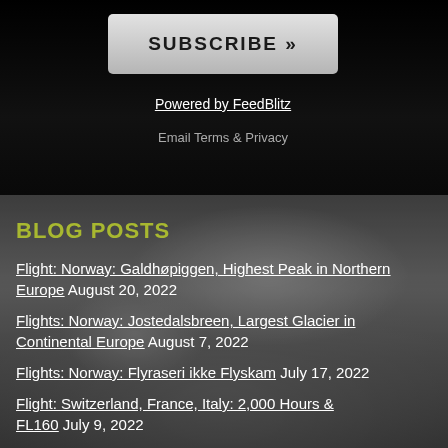[Figure (photo): Black and white mountain landscape background photo showing snowy alpine peaks]
SUBSCRIBE »
Powered by FeedBlitz
Email Terms & Privacy
BLOG POSTS
Flight: Norway: Galdhøpiggen, Highest Peak in Northern Europe August 20, 2022
Flights: Norway: Jostedalsbreen, Largest Glacier in Continental Europe August 7, 2022
Flights: Norway: Flyraseri ikke Flyskam July 17, 2022
Flight: Switzerland, France, Italy: 2,000 Hours & FL160 July 9, 2022